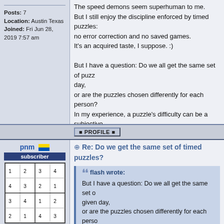Posts: 7
Location: Austin Texas
Joined: Fri Jun 28, 2019 7:57 am
The speed demons seem superhuman to me.
But I still enjoy the discipline enforced by timed puzzles: no error correction and no saved games.
It's an acquired taste, I suppose. :)

But I have a question: Do we all get the same set of puzzles given day,
or are the puzzles chosen differently for each person?
In my experience, a puzzle's difficulty can be a subjective thing and doesn't always correlate with where I finish in the rankings.
So I'm wondering if we are competing in the same game.
Thanks!
PROFILE
pnm subscriber
Posted on: Thu Dec 02, 2021 9:18 pm
Posts: 3080
Re: Do we get the same set of timed puzzles?
flash wrote:
But I have a question: Do we all get the same set of puzzles on a given day,
or are the puzzles chosen differently for each person?

You get a random puzzle from a large pool, so in the long run you get the same puzzles,
just not at the same time.